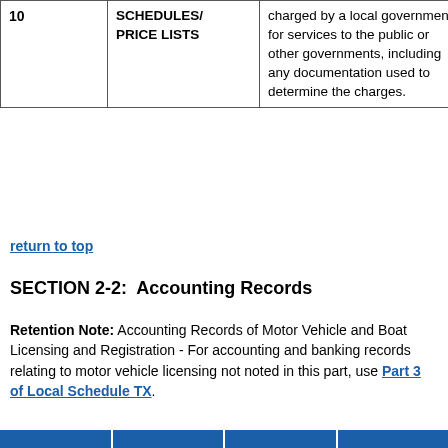| 10 | SCHEDULES/
PRICE LISTS | charged by a local government for services to the public or other governments, including any documentation used to determine the charges. |  |
return to top
SECTION 2-2:  Accounting Records
Retention Note: Accounting Records of Motor Vehicle and Boat Licensing and Registration - For accounting and banking records relating to motor vehicle licensing not noted in this part, use Part 3 of Local Schedule TX.